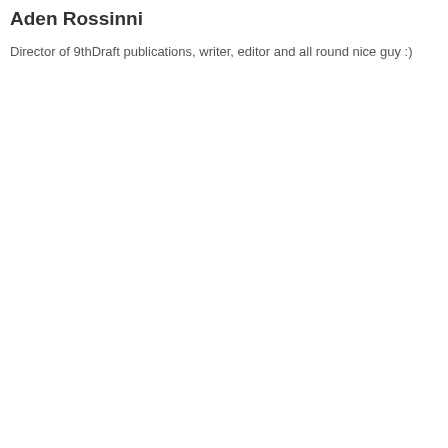Aden Rossinni
Director of 9thDraft publications, writer, editor and all round nice guy :)